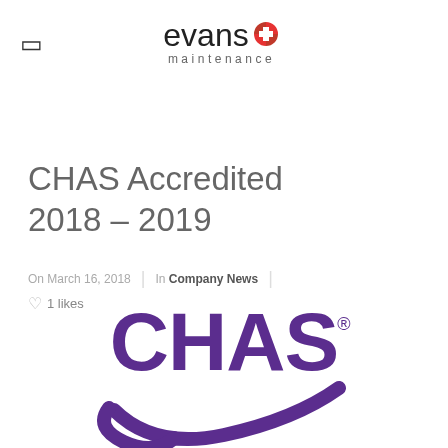[Figure (logo): Evans Maintenance logo with red cross/plus icon and text 'evans maintenance']
CHAS Accredited 2018 – 2019
On March 16, 2018 | In Company News | 1 likes
[Figure (logo): CHAS accreditation logo in purple showing 'CHAS®' text with swoosh underneath]